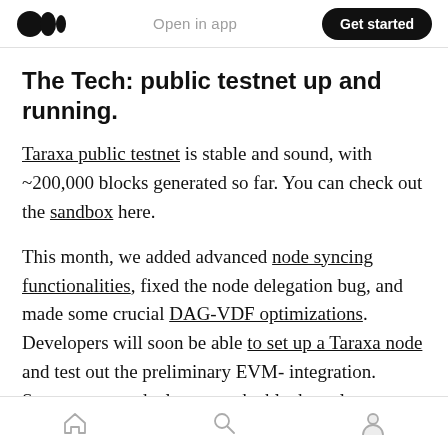Open in app | Get started
The Tech: public testnet up and running.
Taraxa public testnet is stable and sound, with ~200,000 blocks generated so far. You can check out the sandbox here.
This month, we added advanced node syncing functionalities, fixed the node delegation bug, and made some crucial DAG-VDF optimizations. Developers will soon be able to to set up a Taraxa node) and test out the preliminary EVM-integration. Smart contract deployment, the block explorer to visualize DAG, and Metamask
Home | Search | Profile